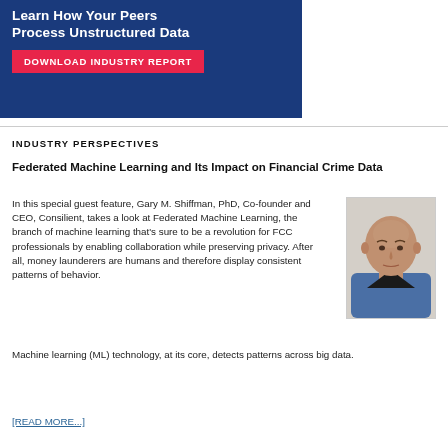[Figure (infographic): Dark blue banner advertisement with white bold text 'Learn How Your Peers Process Unstructured Data' and a red button labeled 'DOWNLOAD INDUSTRY REPORT']
INDUSTRY PERSPECTIVES
Federated Machine Learning and Its Impact on Financial Crime Data
In this special guest feature, Gary M. Shiffman, PhD, Co-founder and CEO, Consilient, takes a look at Federated Machine Learning, the branch of machine learning that’s sure to be a revolution for FCC professionals by enabling collaboration while preserving privacy. After all, money launderers are humans and therefore display consistent patterns of behavior. Machine learning (ML) technology, at its core, detects patterns across big data.
[Figure (photo): Headshot photo of Gary M. Shiffman, a bald man wearing a blue shirt, against a light background]
[READ MORE...]